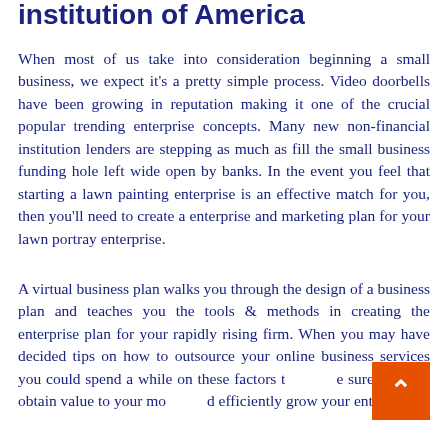institution of America
When most of us take into consideration beginning a small business, we expect it's a pretty simple process. Video doorbells have been growing in reputation making it one of the crucial popular trending enterprise concepts. Many new non-financial institution lenders are stepping as much as fill the small business funding hole left wide open by banks. In the event you feel that starting a lawn painting enterprise is an effective match for you, then you'll need to create a enterprise and marketing plan for your lawn portray enterprise.
A virtual business plan walks you through the design of a business plan and teaches you the tools & methods in creating the enterprise plan for your rapidly rising firm. When you may have decided tips on how to outsource your online business services you could spend a while on these factors to make sure that you obtain value to your money and efficiently grow your enterprise.